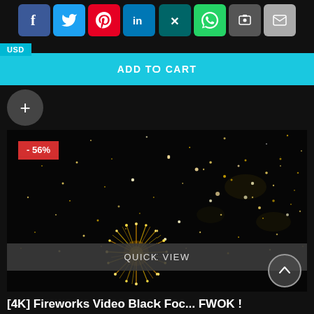[Figure (screenshot): Social media share buttons row: Facebook (blue), Twitter (light blue), Pinterest (red), LinkedIn (blue), Xing (teal), WhatsApp (green), encrypted message (dark), email (grey)]
[Figure (screenshot): USD tab and cyan 'ADD TO CART' button bar]
[Figure (screenshot): Dark circular plus (+) button]
[Figure (photo): Fireworks display on black background with golden firework burst and scattered glowing dots. Red discount badge showing -56%]
QUICK VIEW
[4K] Fireworks Video Black Foc... FWOK !